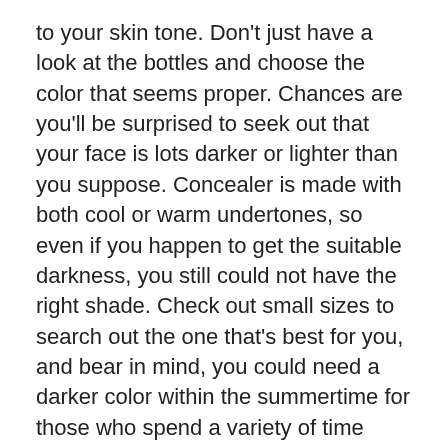to your skin tone. Don't just have a look at the bottles and choose the color that seems proper. Chances are you'll be surprised to seek out that your face is lots darker or lighter than you suppose. Concealer is made with both cool or warm undertones, so even if you happen to get the suitable darkness, you still could not have the right shade. Check out small sizes to search out the one that's best for you, and bear in mind, you could need a darker color within the summertime for those who spend a variety of time outdoors. Many cosmetic strains have clear color swatches that you can put your hand below and match your pores and skin tone to the concealer hue.
In my nation, Nigeria, there is very excessive patronage of Blackberry telephones. In one current documentary, the analyst referred to as on RIM to consider starting an workplace in Nigeria. Somehow the trend is